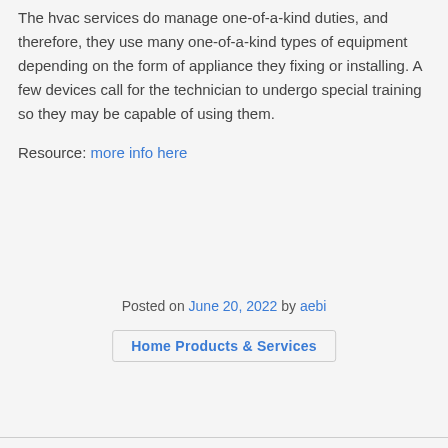The hvac services do manage one-of-a-kind duties, and therefore, they use many one-of-a-kind types of equipment depending on the form of appliance they fixing or installing. A few devices call for the technician to undergo special training so they may be capable of using them.
Resource: more info here
Posted on June 20, 2022 by aebi
Home Products & Services